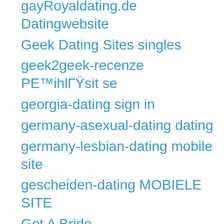gayRoyaldating.de Datingwebsite
Geek Dating Sites singles
geek2geek-recenze PE™ihlГŸsit se
georgia-dating sign in
germany-asexual-dating dating
germany-lesbian-dating mobile site
gescheiden-dating MOBIELE SITE
Get A Bride
get a payday loan
get a payday loan online
get it on come funziona
get it on seiten
get-it-on-recenze MobilnГ strГŸnka
getiton.com come funziona
getiton.com entrar
getit...